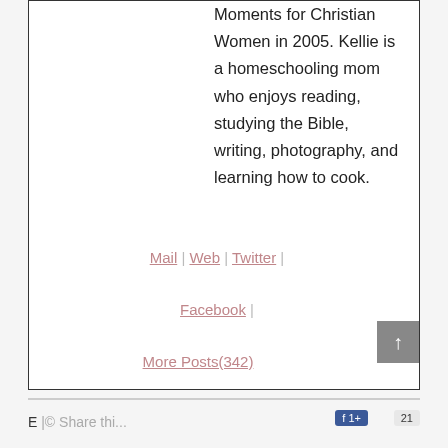Moments for Christian Women in 2005. Kellie is a homeschooling mom who enjoys reading, studying the Bible, writing, photography, and learning how to cook.
Mail | Web | Twitter | Facebook | More Posts(342)